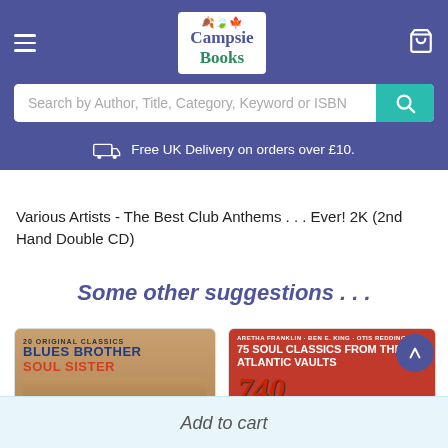[Figure (screenshot): Campsie Books website header with logo, hamburger menu, cart icon, search bar, and free delivery banner]
Various Artists - The Best Club Anthems . . . Ever! 2K (2nd Hand Double CD)
Some other suggestions . . .
[Figure (photo): Blues Brother Soul Sister - 20 Original Classics album cover]
[Figure (photo): 75 Soul Classics From The Atlantic Vaults album cover featuring Aretha Franklin, Ben E. King, Otis Redding]
Add to cart